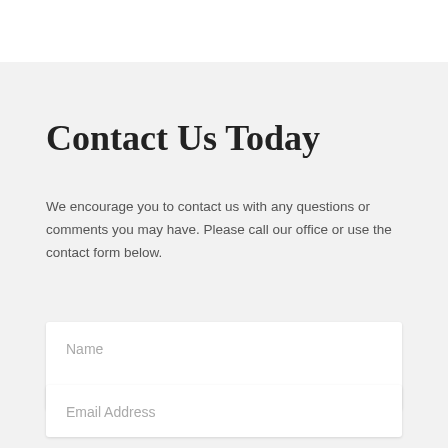Contact Us Today
We encourage you to contact us with any questions or comments you may have. Please call our office or use the contact form below.
[Figure (screenshot): Contact form with Name text input field]
[Figure (screenshot): Contact form with Email Address text input field]